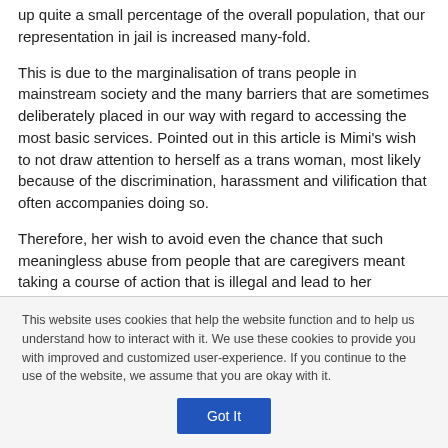up quite a small percentage of the overall population, that our representation in jail is increased many-fold.
This is due to the marginalisation of trans people in mainstream society and the many barriers that are sometimes deliberately placed in our way with regard to accessing the most basic services. Pointed out in this article is Mimi's wish to not draw attention to herself as a trans woman, most likely because of the discrimination, harassment and vilification that often accompanies doing so.
Therefore, her wish to avoid even the chance that such meaningless abuse from people that are caregivers meant taking a course of action that is illegal and lead to her
This website uses cookies that help the website function and to help us understand how to interact with it. We use these cookies to provide you with improved and customized user-experience. If you continue to the use of the website, we assume that you are okay with it.